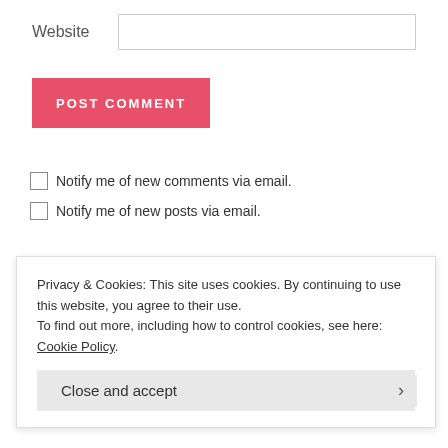Website
POST COMMENT
Notify me of new comments via email.
Notify me of new posts via email.
- LOOKING FOR SOMETHING? -
Search
Privacy & Cookies: This site uses cookies. By continuing to use this website, you agree to their use.
To find out more, including how to control cookies, see here: Cookie Policy
Close and accept